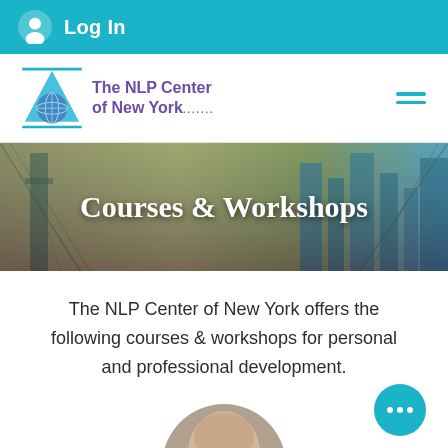Log In
[Figure (logo): The NLP Center of New York logo with blue triangle and globe]
Courses & Workshops
The NLP Center of New York offers the following courses & workshops for personal and professional development.
[Figure (photo): Portrait of a bald man in circular crop, partially visible at bottom of page]